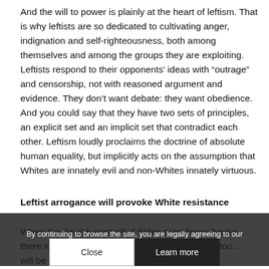And the will to power is plainly at the heart of leftism. That is why leftists are so dedicated to cultivating anger, indignation and self-righteousness, both among themselves and among the groups they are exploiting. Leftists respond to their opponents' ideas with “outrage” and censorship, not with reasoned argument and evidence. They don't want debate: they want obedience. And you could say that they have two sets of principles, an explicit set and an implicit set that contradict each other. Leftism loudly proclaims the doctrine of absolute human equality, but implicitly acts on the assumption that Whites are innately evil and non-Whites innately virtuous.
Leftist arrogance will provoke White resistance
When the Jewish-controlled Biden presidency begins, there to initiate White evil and initiate non-White too... will be use of cookies and general site statistics plugins. assumed and s sted upon. But see hope in that. In the pas hidden their hatred of Whites and Western civilization behind a pretended belief
By continuing to browse the site, you are legally agreeing to our use of cookies and general site statistics plugins.
Close
Learn more